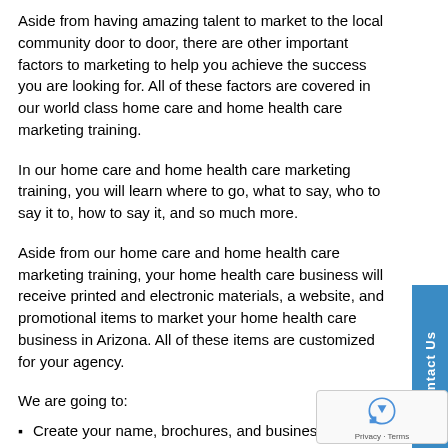Aside from having amazing talent to market to the local community door to door, there are other important factors to marketing to help you achieve the success you are looking for. All of these factors are covered in our world class home care and home health care marketing training.
In our home care and home health care marketing training, you will learn where to go, what to say, who to say it to, how to say it, and so much more.
Aside from our home care and home health care marketing training, your home health care business will receive printed and electronic materials, a website, and promotional items to market your home health care business in Arizona. All of these items are customized for your agency.
We are going to:
Create your name, brochures, and business ca…
Brand your business